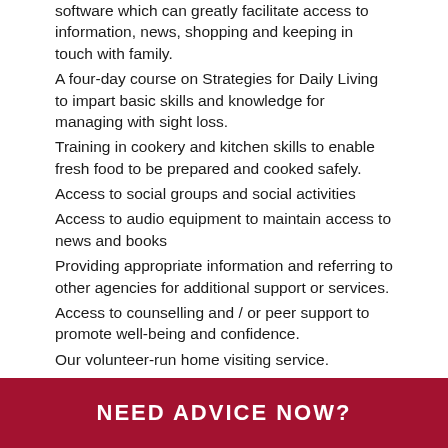software which can greatly facilitate access to information, news, shopping and keeping in touch with family.
A four-day course on Strategies for Daily Living to impart basic skills and knowledge for managing with sight loss.
Training in cookery and kitchen skills to enable fresh food to be prepared and cooked safely.
Access to social groups and social activities
Access to audio equipment to maintain access to news and books
Providing appropriate information and referring to other agencies for additional support or services.
Access to counselling and / or peer support to promote well-being and confidence.
Our volunteer-run home visiting service.
ECAB can also provide Deaf-Blind Communicators to
NEED ADVICE NOW?